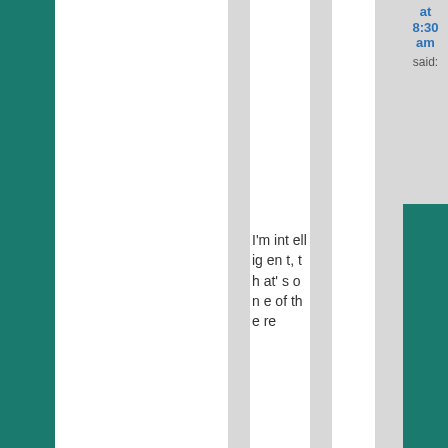at 8:30 am said:
I'm intelligent, that's one of there